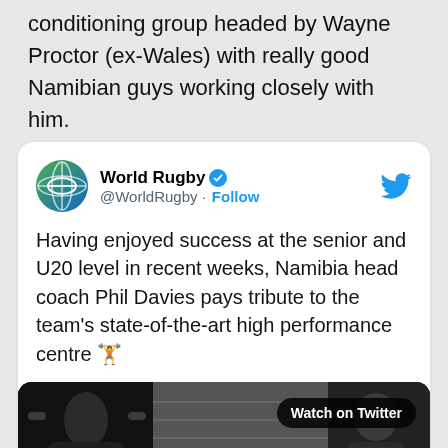conditioning group headed by Wayne Proctor (ex-Wales) with really good Namibian guys working closely with him.
[Figure (screenshot): Embedded tweet from @WorldRugby with text about Namibia head coach Phil Davies and a video thumbnail showing Watch on Twitter button]
Having enjoyed success at the senior and U20 level in recent weeks, Namibia head coach Phil Davies pays tribute to the team's state-of-the-art high performance centre 🏋️
[Figure (photo): Video thumbnail showing gym/training facility with play button and Watch on Twitter badge]